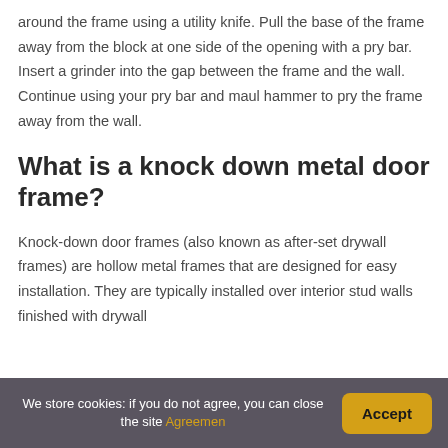around the frame using a utility knife. Pull the base of the frame away from the block at one side of the opening with a pry bar. Insert a grinder into the gap between the frame and the wall. Continue using your pry bar and maul hammer to pry the frame away from the wall.
What is a knock down metal door frame?
Knock-down door frames (also known as after-set drywall frames) are hollow metal frames that are designed for easy installation. They are typically installed over interior stud walls finished with drywall
We store cookies: if you do not agree, you can close the site Agreemen